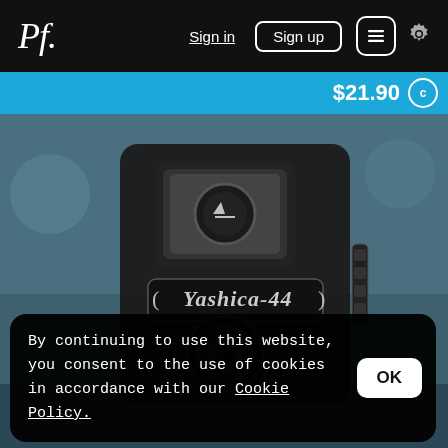Pf. | Sign in | Sign up | Cart | Settings
$21.90 c
[Figure (photo): Close-up photo of a Yashica-44 vintage twin-lens reflex camera with a blue-toned tint]
By continuing to use this website, you consent to the use of cookies in accordance with our Cookie Policy.
OK